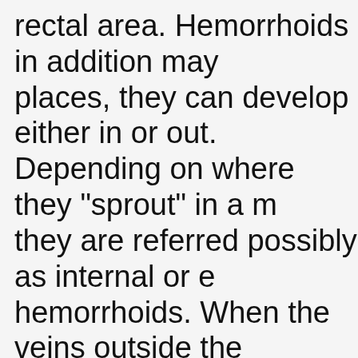rectal area. Hemorrhoids in addition may places, they can develop either in or out. Depending on where they "sprout" in a m they are referred possibly as internal or e hemorrhoids. When the veins outside the increase the size of, they will become wh hemorrhoids. These types of hemorrhoid the more painful and also uncomfortable. Fortunately though, they are also the eas and address as well as being the kind wh This could be attributed to the fact that a located outside one can easily find a he